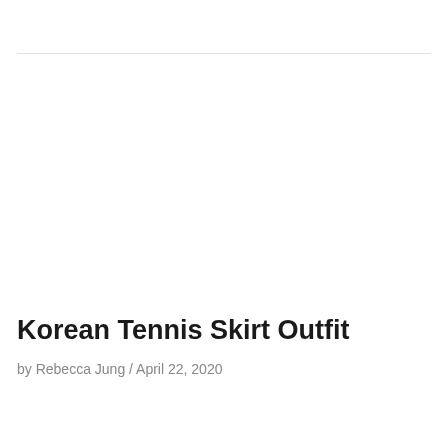Korean Tennis Skirt Outfit
by Rebecca Jung / April 22, 2020